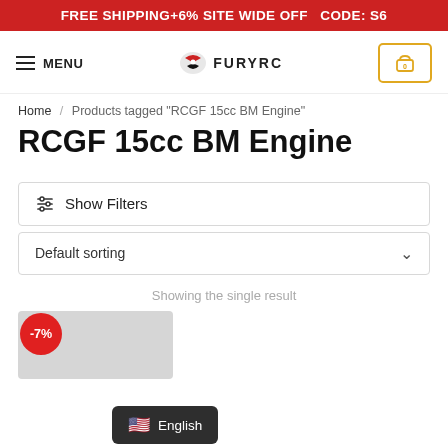FREE SHIPPING+6% SITE WIDE OFF  CODE: S6
[Figure (logo): FuryRC logo with eagle icon and FURYRC text, hamburger menu, and cart icon with 0]
Home / Products tagged "RCGF 15cc BM Engine"
RCGF 15cc BM Engine
⚙ Show Filters
Default sorting ∨
Showing the single result
-7%
🇺🇸 English